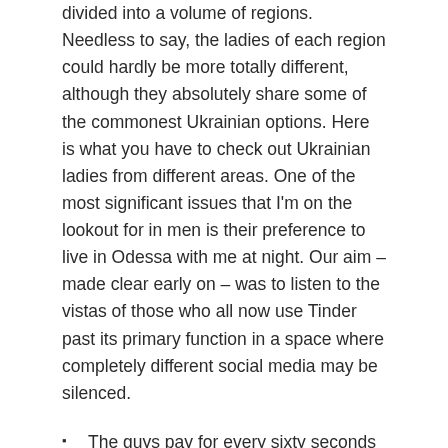divided into a volume of regions. Needless to say, the ladies of each region could hardly be more totally different, although they absolutely share some of the commonest Ukrainian options. Here is what you have to check out Ukrainian ladies from different areas. One of the most significant issues that I'm on the lookout for in men is their preference to live in Odessa with me at night. Our aim – made clear early on – was to listen to the vistas of those who all now use Tinder past its primary function in a space where completely different social media may be silenced.
The guys pay for every sixty seconds they conversation online into a girl, something that it becomes clear is a dangerous portion of the enterprise style.
By the means in which, you may send photos in mails freed from expense.
While Todd's expectations for what a Ukrainian bride